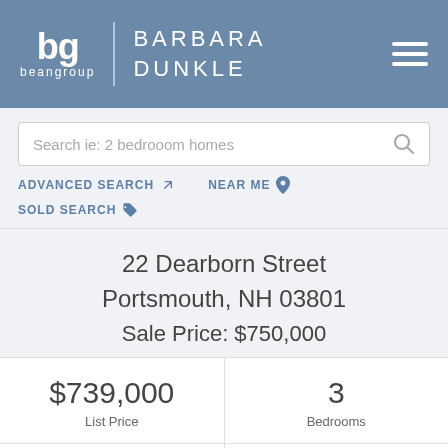bg beangroup | BARBARA DUNKLE
Search ie: 2 bedrooom homes
ADVANCED SEARCH  NEAR ME
SOLD SEARCH
22 Dearborn Street
Portsmouth, NH 03801
Sale Price: $750,000
| List Price | Bedrooms |
| --- | --- |
| $739,000 | 3 |
| 2 | 0.05 |